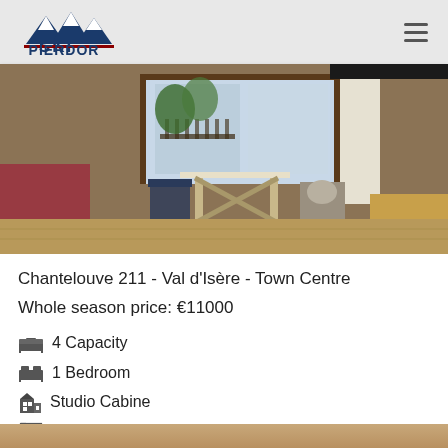SKI PIERDOR
[Figure (photo): Interior photo of a ski chalet apartment showing a dining table with chairs and a window with a balcony view]
Chantelouve 211 - Val d'Isère - Town Centre
Whole season price: €11000
4 Capacity
1 Bedroom
Studio Cabine
23M²
REF: CHA211
[Figure (photo): Partial view of another listing photo at the bottom of the page]